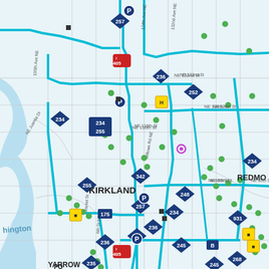[Figure (map): Transit route map showing Kirkland and Redmond area in Washington state. Blue lines represent bus routes, green dots represent stops, diamond-shaped navy route markers show route numbers (234, 235, 236, 245, 248, 252, 255, 257, 268, 311, 342, 931, B), red interstate shields show I-405, parking icons (P), and transit center icons (yellow squares). City labels include KIRKLAND, REDMOND, YARROW POINT. Street labels include NE 132nd St, NE 124th St, NE 116th St, NE 90th St, NE 85th St, 124th Ave NE, 132nd Ave NE, Willows Rd NE, 100th Ave NE, Market St, NE Juanita Dr, 108th Ave NE, 6th St NE.]